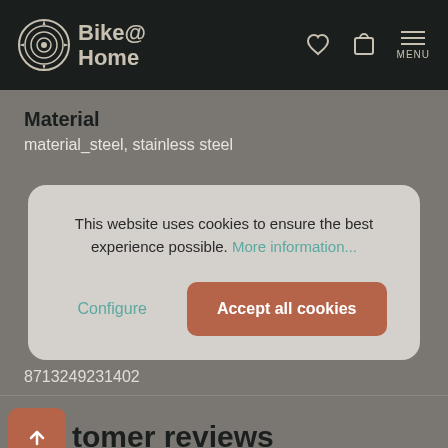Bike@Home
Material
material_steel, stainless steel
This website uses cookies to ensure the best experience possible. More information...
Configure
Accept all cookies
8713249231402
Customer reviews